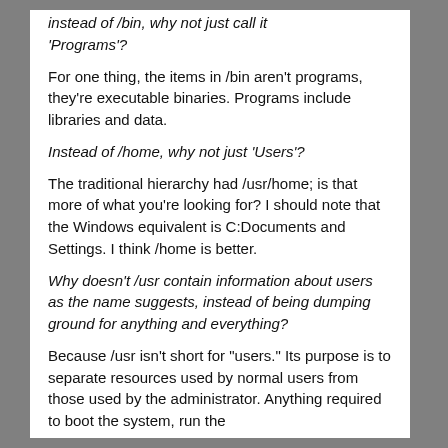instead of /bin, why not just call it 'Programs'?
For one thing, the items in /bin aren't programs, they're executable binaries. Programs include libraries and data.
Instead of /home, why not just 'Users'?
The traditional hierarchy had /usr/home; is that more of what you're looking for? I should note that the Windows equivalent is C:Documents and Settings. I think /home is better.
Why doesn't /usr contain information about users as the name suggests, instead of being dumping ground for anything and everything?
Because /usr isn't short for "users." Its purpose is to separate resources used by normal users from those used by the administrator. Anything required to boot the system, run the